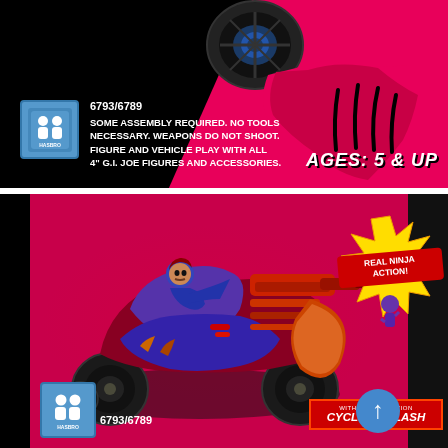6793/6789
SOME ASSEMBLY REQUIRED. NO TOOLS NECESSARY. WEAPONS DO NOT SHOOT. FIGURE AND VEHICLE PLAY WITH ALL 4" G.I. JOE FIGURES AND ACCESSORIES.
AGES: 5 & UP
[Figure (photo): G.I. Joe vehicle toy - dark colored multi-wheeled combat vehicle with driver figure and flame exhaust, on a pink/black backdrop]
REAL NINJA ACTION!
WITH SPRING-ACTION
CYCLONE SLASH
6793/6789